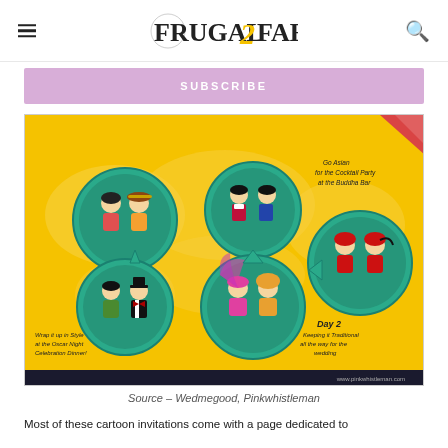FRUGAL2FAB
SUBSCRIBE
[Figure (infographic): An infographic on a yellow background with a world map silhouette. Five teal circular speech bubbles contain cartoon illustrations of couples in traditional costumes representing different cultures (Latin/Mexican, Asian/Japanese, Chinese, Western formal/tuxedo, Indian). Text labels read: 'Go Asian for the Cocktail Party at the Buddha Bar', 'Wrap it up in Style at the Oscar Night Celebration Dinner!', 'Day 2 Keeping it Traditional all the way for the wedding'. Bottom dark bar shows: www.pinkwhistleman.com]
Source – Wedmegood, Pinkwhistleman
Most of these cartoon invitations come with a page dedicated to